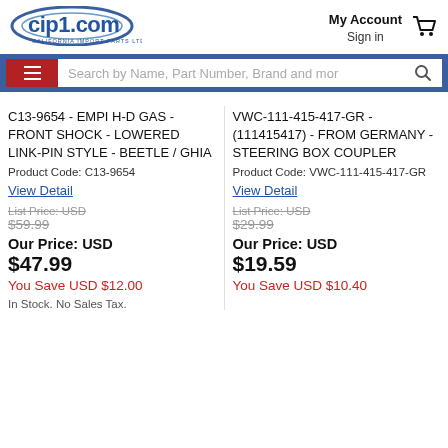[Figure (logo): cip1.com California Import Parts Ltd. logo with blue ellipse swoosh]
My Account
Sign in
[Figure (other): Shopping cart icon]
[Figure (screenshot): Search bar with hamburger menu and search input: Search by Name, Part Number, Brand and mor]
C13-9654 - EMPI H-D GAS - FRONT SHOCK - LOWERED LINK-PIN STYLE - BEETLE / GHIA
Product Code: C13-9654
View Detail
List Price: USD
$59.99
Our Price: USD
$47.99
You Save USD $12.00
In Stock. No Sales Tax.
VWC-111-415-417-GR - (111415417) - FROM GERMANY - STEERING BOX COUPLER
Product Code: VWC-111-415-417-GR
View Detail
List Price: USD
$29.99
Our Price: USD
$19.59
You Save USD $10.40